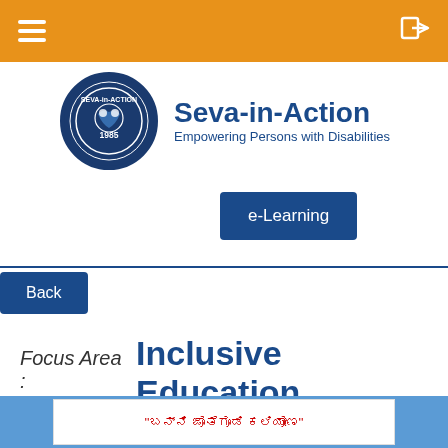Seva-in-Action navigation bar with hamburger menu and login icon
[Figure (logo): Seva-in-Action circular logo with '1985' and figures, dark blue circle]
Seva-in-Action
Empowering Persons with Disabilities
e-Learning
Back
Focus Area : Inclusive Education
[Figure (photo): Kannada language educational poster with text and illustration, partially visible]